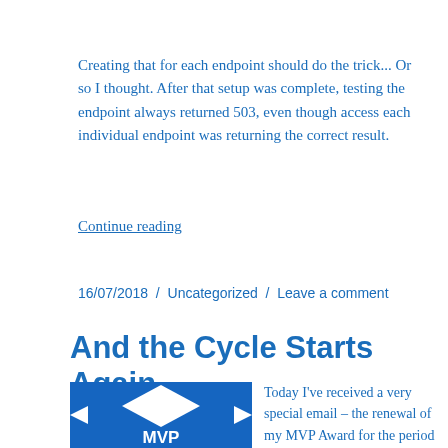Creating that for each endpoint should do the trick... Or so I thought. After that setup was complete, testing the endpoint always returned 503, even though access each individual endpoint was returning the correct result.
Continue reading
16/07/2018 / Uncategorized / Leave a comment
And the Cycle Starts Again
[Figure (logo): Microsoft MVP logo — blue square with white diamond/house shape above 'MVP' text in blue letters with diamond shapes on sides]
Today I've received a very special email – the renewal of my MVP Award for the period 2018-2019. Those who had received the award before